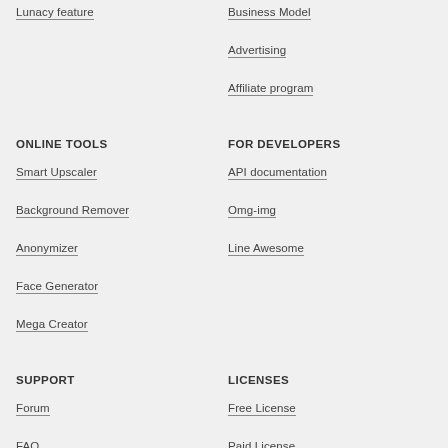Lunacy feature
Business Model
Advertising
Affiliate program
ONLINE TOOLS
FOR DEVELOPERS
Smart Upscaler
API documentation
Background Remover
Omg-img
Anonymizer
Line Awesome
Face Generator
Mega Creator
SUPPORT
LICENSES
Forum
Free License
FAQ
Paid License